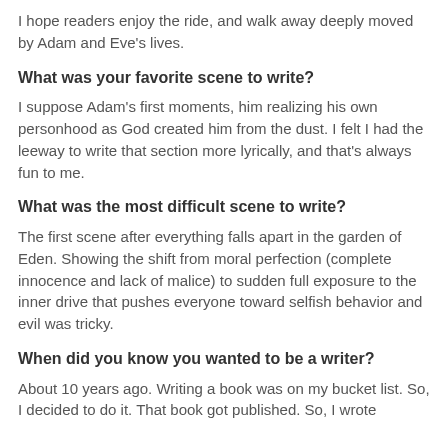I hope readers enjoy the ride, and walk away deeply moved by Adam and Eve's lives.
What was your favorite scene to write?
I suppose Adam's first moments, him realizing his own personhood as God created him from the dust. I felt I had the leeway to write that section more lyrically, and that's always fun to me.
What was the most difficult scene to write?
The first scene after everything falls apart in the garden of Eden. Showing the shift from moral perfection (complete innocence and lack of malice) to sudden full exposure to the inner drive that pushes everyone toward selfish behavior and evil was tricky.
When did you know you wanted to be a writer?
About 10 years ago. Writing a book was on my bucket list. So, I decided to do it. That book got published. So, I wrote